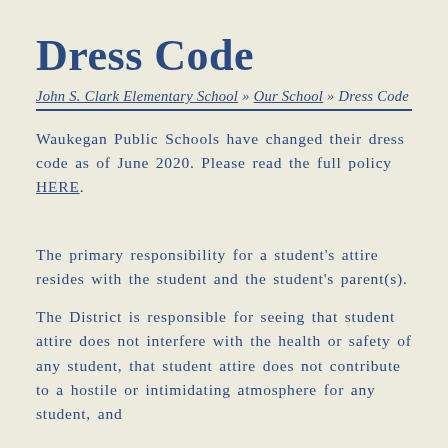Dress Code
John S. Clark Elementary School » Our School » Dress Code
Waukegan Public Schools have changed their dress code as of June 2020. Please read the full policy HERE.
The primary responsibility for a student's attire resides with the student and the student's parent(s).
The District is responsible for seeing that student attire does not interfere with the health or safety of any student, that student attire does not contribute to a hostile or intimidating atmosphere for any student, and